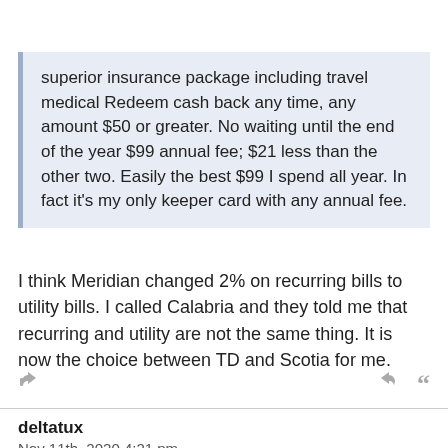superior insurance package including travel medical Redeem cash back any time, any amount $50 or greater. No waiting until the end of the year $99 annual fee; $21 less than the other two. Easily the best $99 I spend all year. In fact it's my only keeper card with any annual fee.
I think Meridian changed 2% on recurring bills to utility bills. I called Calabria and they told me that recurring and utility are not the same thing. It is now the choice between TD and Scotia for me.
deltatux
Nov 11th, 2020 4:21 pm